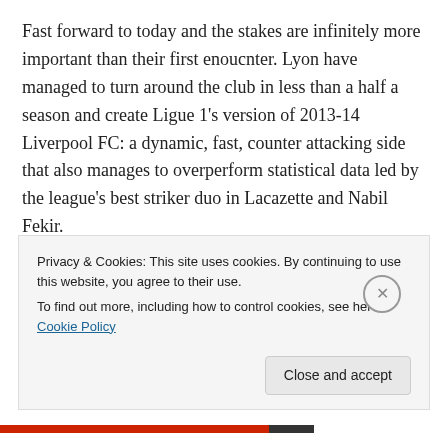Fast forward to today and the stakes are infinitely more important than their first enoucnter. Lyon have managed to turn around the club in less than a half a season and create Ligue 1's version of 2013-14 Liverpool FC: a dynamic, fast, counter attacking side that also manages to overperform statistical data led by the league's best striker duo in Lacazette and Nabil Fekir.
PSG haven't been as thrilling to watch. By far the most talented squad, the season has been more a slog than a display of ruthless efficiency.
Privacy & Cookies: This site uses cookies. By continuing to use this website, you agree to their use.
To find out more, including how to control cookies, see here: Cookie Policy